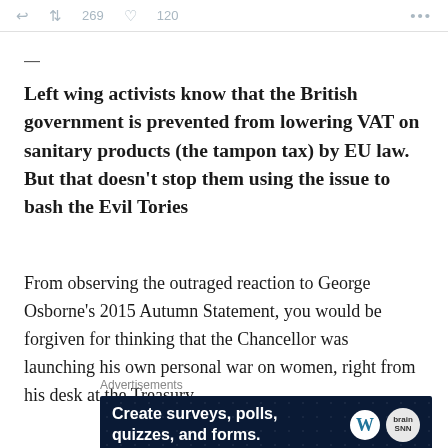↩  🔁 269  🤍 120  •••
—
Left wing activists know that the British government is prevented from lowering VAT on sanitary products (the tampon tax) by EU law. But that doesn't stop them using the issue to bash the Evil Tories
From observing the outraged reaction to George Osborne's 2015 Autumn Statement, you would be forgiven for thinking that the Chancellor was launching his own personal war on women, right from his desk at the Treasury.
Advertisements
[Figure (other): Advertisement banner with dark navy background showing text 'Create surveys, polls, quizzes, and forms.' with WordPress logo and another circular logo on the right.]